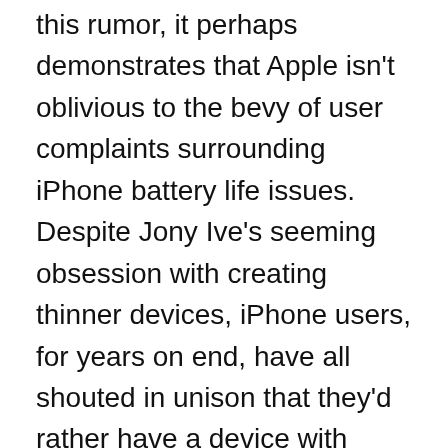this rumor, it perhaps demonstrates that Apple isn't oblivious to the bevy of user complaints surrounding iPhone battery life issues. Despite Jony Ive's seeming obsession with creating thinner devices, iPhone users, for years on end, have all shouted in unison that they'd rather have a device with more robust battery life than a thinner form factor. On a related note, if the only next-gen iPhone to offer improved battery life is the iPhone 7 Plus, it'd be frustrating to see Apple blatantly hinder the overall user experience on other iPhone models in an effort to funnel users to a higher-margined device.